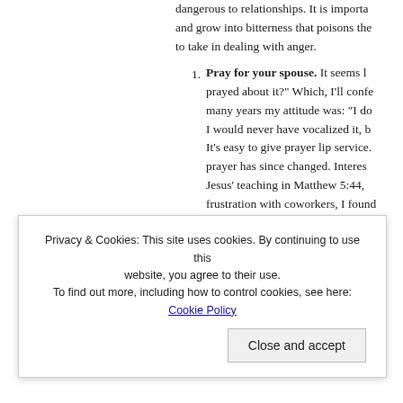dangerous to relationships. It is important and grow into bitterness that poisons the to take in dealing with anger.
Pray for your spouse. It seems b prayed about it?" Which, I'll confe many years my attitude was: "I do I would never have vocalized it, b It's easy to give prayer lip service. prayer has since changed. Interes Jesus' teaching in Matthew 5:44, frustration with coworkers, I found toward these individuals, but as I to simply let go of offenses and fo for my enemies and those who off
Privacy & Cookies: This site uses cookies. By continuing to use this website, you agree to their use.
To find out more, including how to control cookies, see here: Cookie Policy
Close and accept